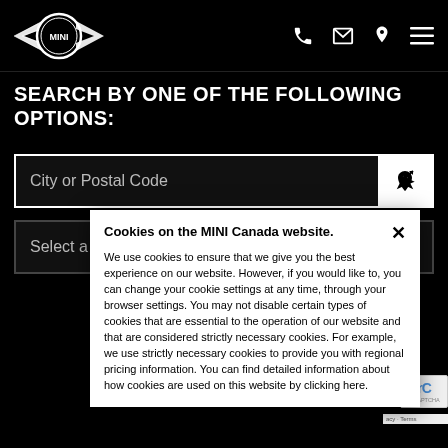[Figure (logo): MINI logo with wings on black background]
SEARCH BY ONE OF THE FOLLOWING OPTIONS:
City or Postal Code
Select a racetrack
Cookies on the MINI Canada website.
We use cookies to ensure that we give you the best experience on our website. However, if you would like to, you can change your cookie settings at any time, through your browser settings. You may not disable certain types of cookies that are essential to the operation of our website and that are considered strictly necessary cookies. For example, we use strictly necessary cookies to provide you with regional pricing information. You can find detailed information about how cookies are used on this website by clicking here.
DI
Jun